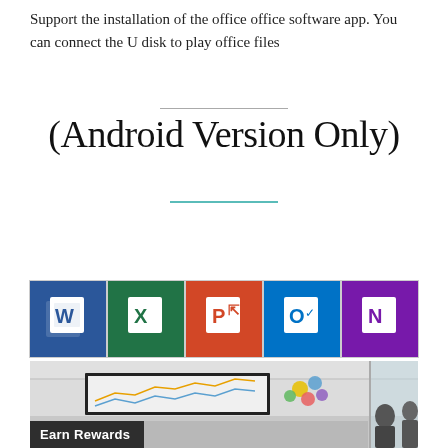Support the installation of the office office software app. You can connect the U disk to play office files
(Android Version Only)
[Figure (illustration): Five Microsoft Office application icons in a row: Word (blue, W), Excel (green, X), PowerPoint (red/orange, P), Outlook (blue, O), OneNote (purple, N)]
[Figure (photo): Photo of a conference room with a projection screen showing charts and a colorful diagram, two people visible, with an 'Earn Rewards' text overlay in the lower left]